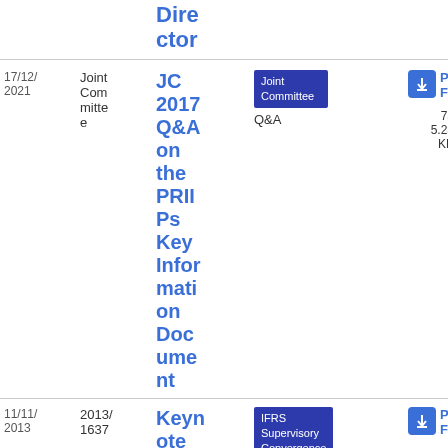| Date | Author | Title | Tag | Type | PDF |
| --- | --- | --- | --- | --- | --- |
| 17/12/2021 | Joint Committee | JC 2017 Q&A on the PRIIPs Key Information Document | Joint Committee Q&A | Q&A | PDF 755.23 KB |
| 11/11/2013 | 2013/1637 | Keynote Spee... | IFRS Supervisory Convergence | Speech | PDF 16... |